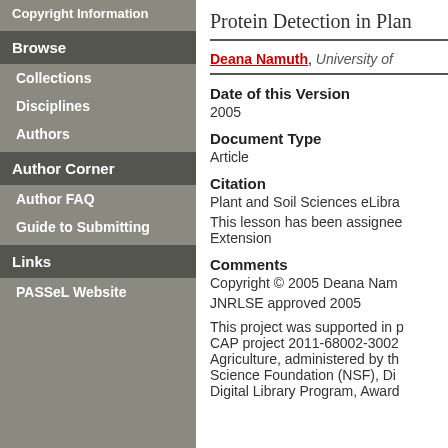Copyright Information
Browse
Collections
Disciplines
Authors
Author Corner
Author FAQ
Guide to Submitting
Links
PASSeL Website
Protein Detection in Plan
Deana Namuth, University of
Date of this Version
2005
Document Type
Article
Citation
Plant and Soil Sciences eLibra
This lesson has been assigned Extension
Comments
Copyright © 2005 Deana Nam
JNRLSE approved 2005
This project was supported in p CAP project 2011-68002-3002 Agriculture, administered by th Science Foundation (NSF), Di Digital Library Program, Award